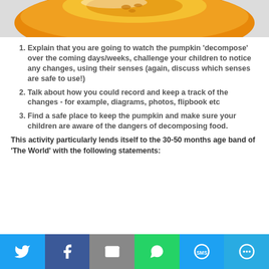[Figure (photo): Close-up photo of a cut pumpkin showing orange flesh and seeds on a white surface]
Explain that you are going to watch the pumpkin 'decompose' over the coming days/weeks, challenge your children to notice any changes, using their senses (again, discuss which senses are safe to use!)
Talk about how you could record and keep a track of the changes - for example, diagrams, photos, flipbook etc
Find a safe place to keep the pumpkin and make sure your children are aware of the dangers of decomposing food.
This activity particularly lends itself to the 30-50 months age band of 'The World' with the following statements: